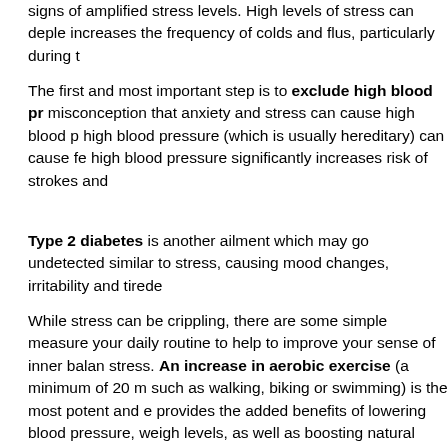signs of amplified stress levels. High levels of stress can deplete increases the frequency of colds and flus, particularly during t
The first and most important step is to exclude high blood pr misconception that anxiety and stress can cause high blood p high blood pressure (which is usually hereditary) can cause fe high blood pressure significantly increases risk of strokes and
Type 2 diabetes is another ailment which may go undetected similar to stress, causing mood changes, irritability and tirede
While stress can be crippling, there are some simple measure your daily routine to help to improve your sense of inner balan stress. An increase in aerobic exercise (a minimum of 20 m such as walking, biking or swimming) is the most potent and e provides the added benefits of lowering blood pressure, weigh levels, as well as boosting natural endorphins. Activities such a relieve inner tensions, while also building overall strength, bot